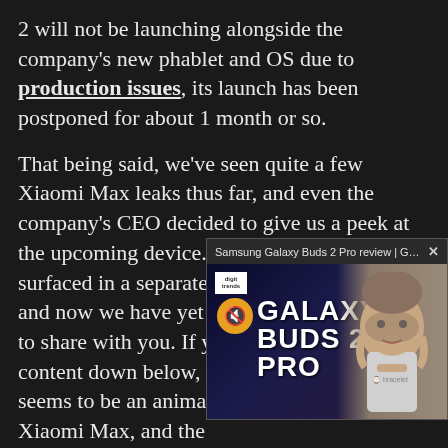2 will not be launching alongside the company's new phablet and OS due to production issues, its launch has been postponed for about 1 month or so.
That being said, we've seen quite a few Xiaomi Max leaks thus far, and even the company's CEO decided to give us a peek at the upcoming device. The Xiaomi Max surfaced in a separate real life image as well, and now we have yet another interesting leak to share with you. If you take a look at the content down below, you'll get to see what seems to be an animated .gif from a Xiaomi Max, and the (the commercial itse site). The source see the Chinese actress, and we can't confirm sure seems like it. A...
[Figure (screenshot): A video overlay popup showing 'Samsung Galaxy Buds 2 Pro review | Gr...' with an X close button, a logo, a muted speaker button, large text reading GALAXY BUDS 2 PRO, and a man holding a small device on the right side.]